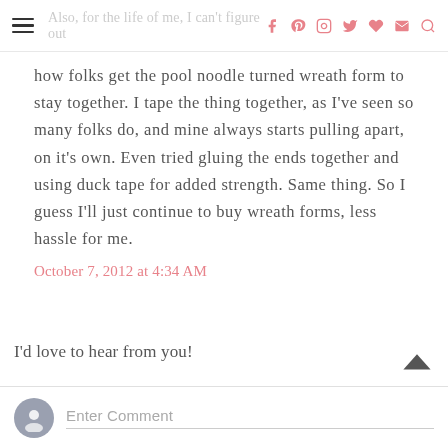Also, for the life of me, I can't figure out
how folks get the pool noodle turned wreath form to stay together. I tape the thing together, as I've seen so many folks do, and mine always starts pulling apart, on it's own. Even tried gluing the ends together and using duck tape for added strength. Same thing. So I guess I'll just continue to buy wreath forms, less hassle for me.
October 7, 2012 at 4:34 AM
I'd love to hear from you!
Enter Comment